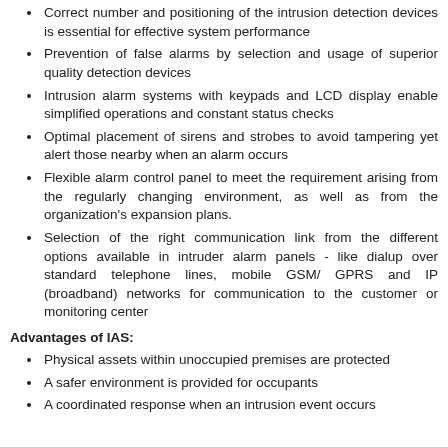Correct number and positioning of the intrusion detection devices is essential for effective system performance
Prevention of false alarms by selection and usage of superior quality detection devices
Intrusion alarm systems with keypads and LCD display enable simplified operations and constant status checks
Optimal placement of sirens and strobes to avoid tampering yet alert those nearby when an alarm occurs
Flexible alarm control panel to meet the requirement arising from the regularly changing environment, as well as from the organization's expansion plans.
Selection of the right communication link from the different options available in intruder alarm panels - like dialup over standard telephone lines, mobile GSM/ GPRS and IP (broadband) networks for communication to the customer or monitoring center
Advantages of IAS:
Physical assets within unoccupied premises are protected
A safer environment is provided for occupants
A coordinated response when an intrusion event occurs